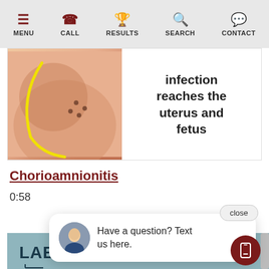MENU  CALL  RESULTS  SEARCH  CONTACT
[Figure (illustration): Medical illustration showing infection reaching the uterus and fetus, with a yellow curve highlighting anatomical structures on the left side, and text on the right reading 'infection reaches the uterus and fetus']
Chorioamnionitis
0:58
close
[Figure (infographic): Infographic panel with teal background showing 'LABOR' heading with an arrow pointing to a text box reading: 'Labor dystocia, or "arrest of labor," is an absence of progress in labor for at least 2 hours. It is measured by cervical dilation and descent of the presenting part of the baby.']
Have a question? Text us here.